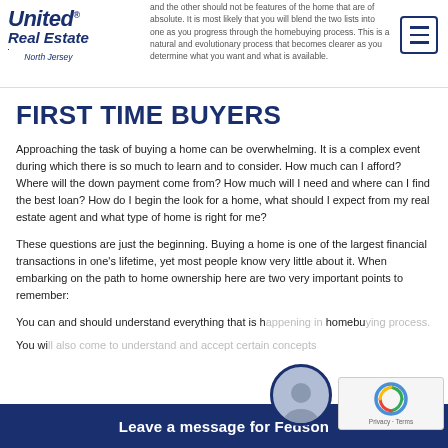United Real Estate North Jersey — navigation header with logo and hamburger menu
and the other should not be features of the home that are of absolute. It is most likely that you will blend the two lists into one as you progress through the homebuying process. This is a natural and evolutionary process that becomes clearer as you determine what you want and what is available.
FIRST TIME BUYERS
Approaching the task of buying a home can be overwhelming. It is a complex event during which there is so much to learn and to consider. How much can I afford? Where will the down payment come from? How much will I need and where can I find the best loan? How do I begin the look for a home, what should I expect from my real estate agent and what type of home is right for me?
These questions are just the beginning. Buying a home is one of the largest financial transactions in one's lifetime, yet most people know very little about it. When embarking on the path to home ownership here are two very important points to remember:
You can and should understand everything that is happening in the homebuying process.
You will also come to understand and accept certain concepts